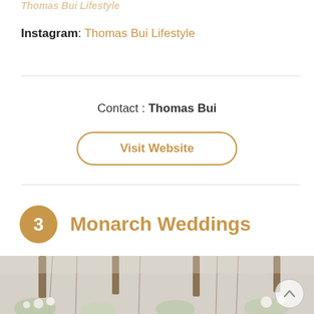Instagram: Thomas Bui Lifestyle
Contact : Thomas Bui
Visit Website
3  Monarch Weddings
[Figure (photo): Wedding floral arrangement photo with tall palm trees and white flower centerpieces]